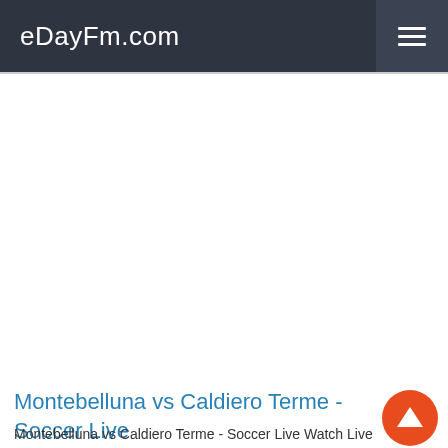eDayFm.com
[Figure (other): Large white advertisement/content placeholder area below the navigation bar]
Montebelluna vs Caldiero Terme - Soccer Live
Montebelluna vs Caldiero Terme - Soccer Live Watch Live Stream.HD : http://edayfm.com Today March 30, 2023. This